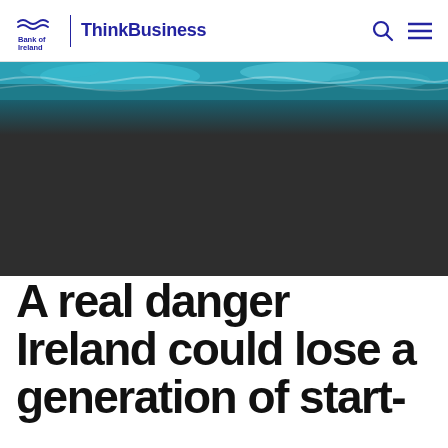Bank of Ireland | ThinkBusiness
[Figure (photo): Aerial or abstract photo of ocean/water with blue-green teal tones at top, transitioning to a dark charcoal/near-black color covering most of the image area]
A real danger Ireland could lose a generation of start-